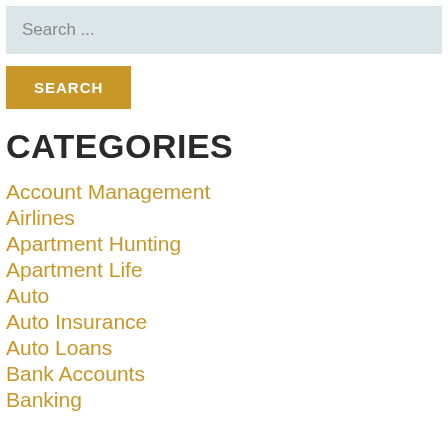Search ...
SEARCH
CATEGORIES
Account Management
Airlines
Apartment Hunting
Apartment Life
Auto
Auto Insurance
Auto Loans
Bank Accounts
Banking